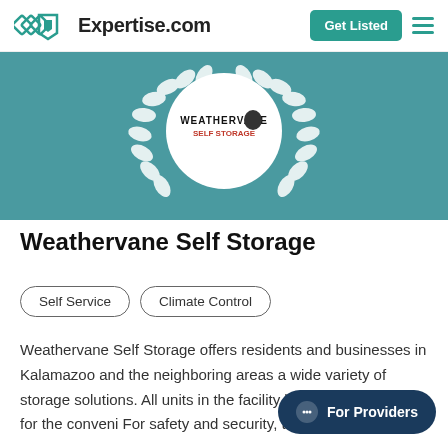Expertise.com
[Figure (logo): Weathervane Self Storage award badge with laurel wreath on teal background]
Weathervane Self Storage
Self Service
Climate Control
Weathervane Self Storage offers residents and businesses in Kalamazoo and the neighboring areas a wide variety of storage solutions. All units in the facility have drive-up access for the conveni… For safety and security, the entire pro…